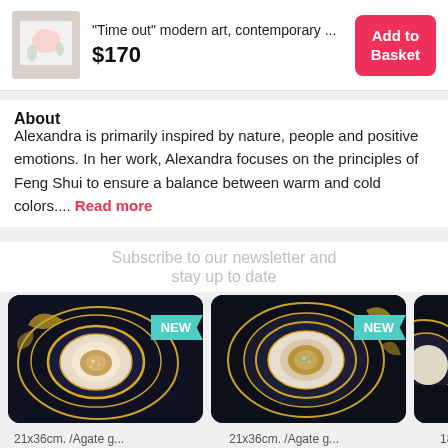[Figure (screenshot): Product thumbnail showing a pastel abstract painting with floral elements]
"Time out" modern art, contemporary ...
$170
Add to Basket
About
Alexandra is primarily inspired by nature, people and positive emotions. In her work, Alexandra focuses on the principles of Feng Shui to ensure a balance between warm and cold colors.... Read more
Subscribe to our newsletter and ...
[Figure (photo): Dark background agate geode painting with gold leaf accents, white center, labelled NEW]
21x36cm. /Agate g...
[Figure (photo): Dark background agate geode painting with gold leaf accents, orange center sparkle, labelled NEW]
21x36cm. /Agate g...
[Figure (photo): Partial view of another dark background agate painting]
18x